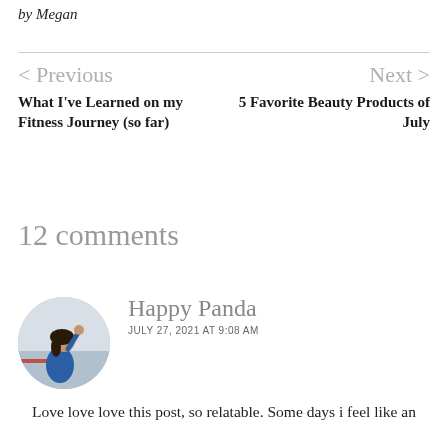by Megan
< Previous
What I've Learned on my Fitness Journey (so far)
Next >
5 Favorite Beauty Products of July
12 comments
Happy Panda
JULY 27, 2021 AT 9:08 AM
[Figure (photo): Circular avatar photo of a person standing on a pier or waterfront, wearing a blue hoodie, with water and misty background.]
Love love love this post, so relatable. Some days i feel like an